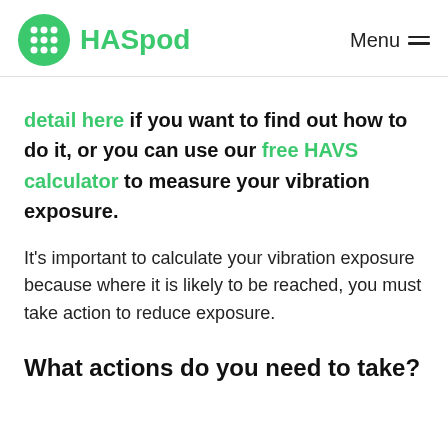HASpod  Menu
detail here if you want to find out how to do it, or you can use our free HAVS calculator to measure your vibration exposure.
It's important to calculate your vibration exposure because where it is likely to be reached, you must take action to reduce exposure.
What actions do you need to take?